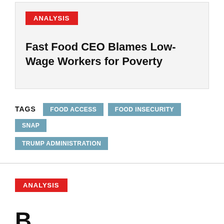ANALYSIS
Fast Food CEO Blames Low-Wage Workers for Poverty
TAGS
FOOD ACCESS  FOOD INSECURITY  SNAP  TRUMP ADMINISTRATION
ANALYSIS
B...